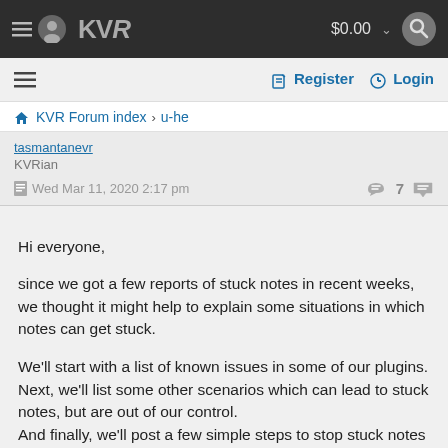KVR  $0.00
Register  Login
KVR Forum index › u-he
tasmantanevr
KVRian
Wed Mar 11, 2020 2:17 pm  7
Hi everyone,

since we got a few reports of stuck notes in recent weeks, we thought it might help to explain some situations in which notes can get stuck.

We'll start with a list of known issues in some of our plugins. Next, we'll list some other scenarios which can lead to stuck notes, but are out of our control.
And finally, we'll post a few simple steps to stop stuck notes once you got them.
So let's start.